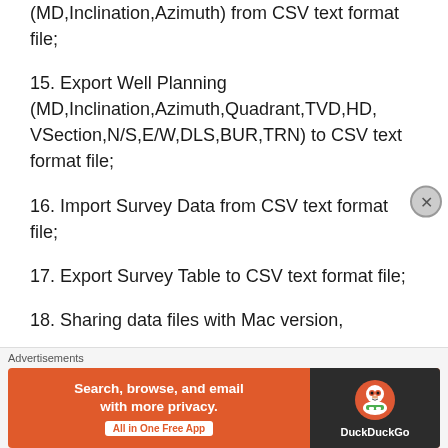(MD,Inclination,Azimuth) from CSV text format file;
15. Export Well Planning (MD,Inclination,Azimuth,Quadrant,TVD,HD,VSection,N/S,E/W,DLS,BUR,TRN) to CSV text format file;
16. Import Survey Data from CSV text format file;
17. Export Survey Table to CSV text format file;
18. Sharing data files with Mac version,
[Figure (screenshot): DuckDuckGo advertisement banner: 'Search, browse, and email with more privacy. All in One Free App' with DuckDuckGo logo on dark background]